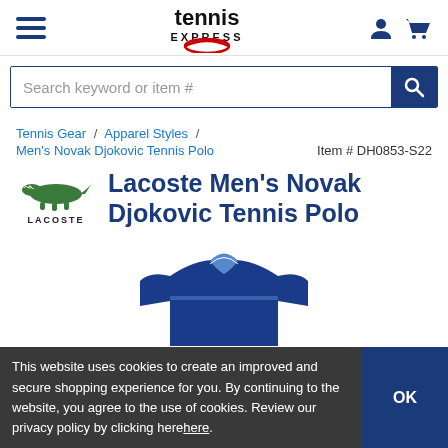[Figure (logo): Tennis Express logo with stylized tennis ball in red/black and 'tennis express' text]
[Figure (screenshot): Search bar with text 'Search keyword or item #' and blue search button]
Tennis Gear / Apparel Styles /
Men's Novak Djokovic Tennis Polo    Item # DH0853-S22
Lacoste Men's Novak Djokovic Tennis Polo
[Figure (photo): Lacoste Men's Novak Djokovic Tennis Polo product photo showing blue/black polo shirt]
This website uses cookies to create an improved and secure shopping experience for you. By continuing to the website, you agree to the use of cookies. Review our privacy policy by clicking herehere.